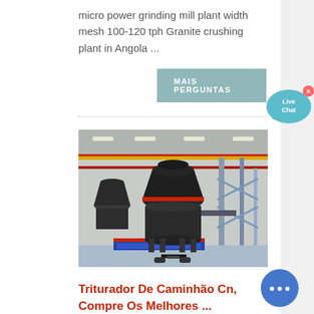micro power grinding mill plant width mesh 100-120 tph Granite crushing plant in Angola ...
MAIS PERGUNTAS
[Figure (photo): Industrial grinding mill machine in a large factory/warehouse setting, with red piping and steel structures visible in the background.]
Triturador De Caminhão Cn, Compre Os Melhores ...